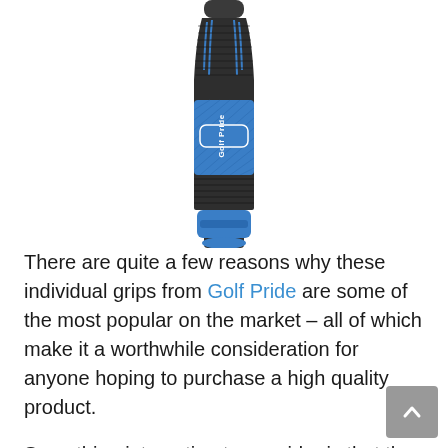[Figure (photo): A Golf Pride MCC Plus4 half-cord golf grip, blue and dark grey/black textured, shown vertically from the top, with 'Golf Pride' branding visible on the side.]
There are quite a few reasons why these individual grips from Golf Pride are some of the most popular on the market – all of which make it a worthwhile consideration for anyone hoping to purchase a high quality product.
Something interesting to consider is that the Golf Pride MCC Plus4 half-cord grips are